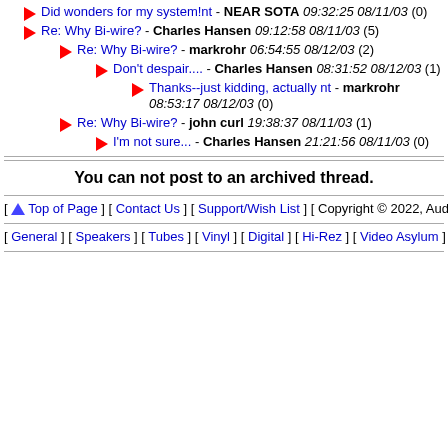Did wonders for my system!nt - NEAR SOTA 09:32:25 08/11/03 (0)
Re: Why Bi-wire? - Charles Hansen 09:12:58 08/11/03 (5)
Re: Why Bi-wire? - markrohr 06:54:55 08/12/03 (2)
Don't despair.... - Charles Hansen 08:31:52 08/12/03 (1)
Thanks--just kidding, actually nt - markrohr 08:53:17 08/12/03 (0)
Re: Why Bi-wire? - john curl 19:38:37 08/11/03 (1)
I'm not sure... - Charles Hansen 21:21:56 08/11/03 (0)
You can not post to an archived thread.
[ Top of Page ] [ Contact Us ] [ Support/Wish List ] [ Copyright © 2022, Audio A...
[ General ] [ Speakers ] [ Tubes ] [ Vinyl ] [ Digital ] [ Hi-Rez ] [ Video Asylum ] [ Ca...